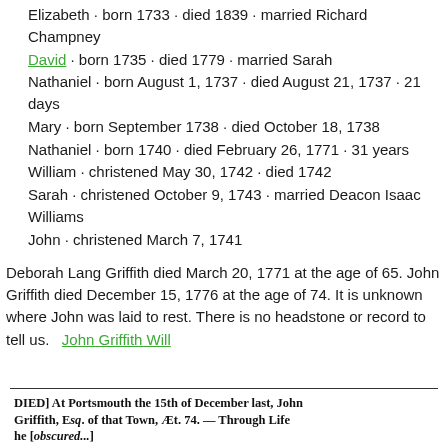Elizabeth · born 1733 · died 1839 · married Richard Champney
David · born 1735 · died 1779 · married Sarah
Nathaniel · born August 1, 1737 · died August 21, 1737 · 21 days
Mary · born September 1738 · died October 18, 1738
Nathaniel · born 1740 · died February 26, 1771 · 31 years
William · christened May 30, 1742 · died 1742
Sarah · christened October 9, 1743 · married Deacon Isaac Williams
John · christened March 7, 1741
Deborah Lang Griffith died March 20, 1771 at the age of 65. John Griffith died December 15, 1776 at the age of 74. It is unknown where John was laid to rest. There is no headstone or record to tell us.   John Griffith Will
[Figure (photo): Scanned newspaper clipping with old typeset text reading: DIED] At Portsmouth the 15th of December last, John Griffith, Esq. of that Town, Æt. 74. — Through Life he [obscured text continues]]